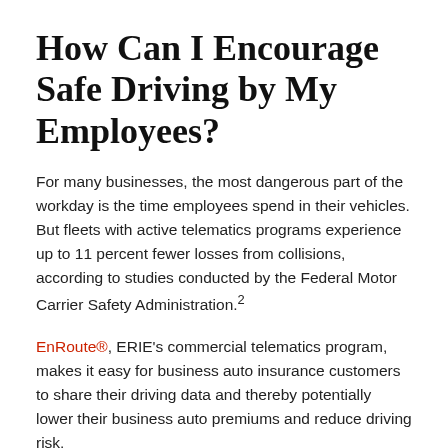How Can I Encourage Safe Driving by My Employees?
For many businesses, the most dangerous part of the workday is the time employees spend in their vehicles. But fleets with active telematics programs experience up to 11 percent fewer losses from collisions, according to studies conducted by the Federal Motor Carrier Safety Administration.2
EnRoute®, ERIE's commercial telematics program, makes it easy for business auto insurance customers to share their driving data and thereby potentially lower their business auto premiums and reduce driving risk.